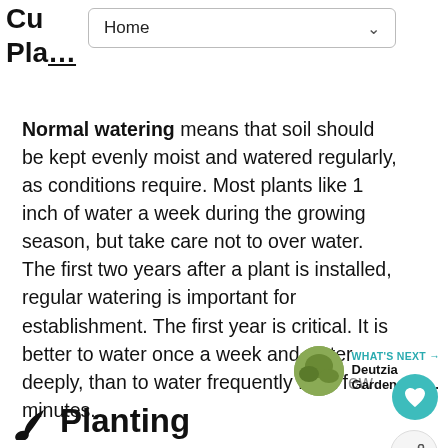Cu... Pla...
Home
Normal watering means that soil should be kept evenly moist and watered regularly, as conditions require. Most plants like 1 inch of water a week during the growing season, but take care not to over water. The first two years after a plant is installed, regular watering is important for establishment. The first year is critical. It is better to water once a week and water deeply, than to water frequently for a few minutes.
🌱 Planting